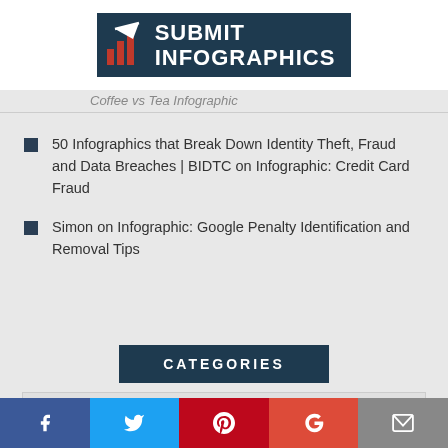[Figure (logo): Submit Infographics logo with dark navy background, arrow and bar chart icon on left, bold white text SUBMIT INFOGRAPHICS on right]
Coffee vs Tea Infographic
50 Infographics that Break Down Identity Theft, Fraud and Data Breaches | BIDTC on Infographic: Credit Card Fraud
Simon on Infographic: Google Penalty Identification and Removal Tips
CATEGORIES
Select Category